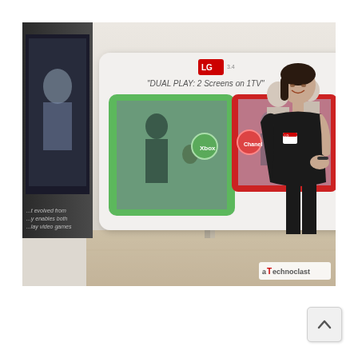[Figure (photo): A woman in a black one-shoulder dress stands smiling next to a white LG Dual Play display unit in a retail or exhibition setting. The display shows a sign reading 'DUAL PLAY: 2 Screens on 1TV' with green and red panels each showing a separate screen. The left side of the image shows part of a dark TV screen with partial text. A Technoclast watermark appears in the bottom right corner of the photo.]